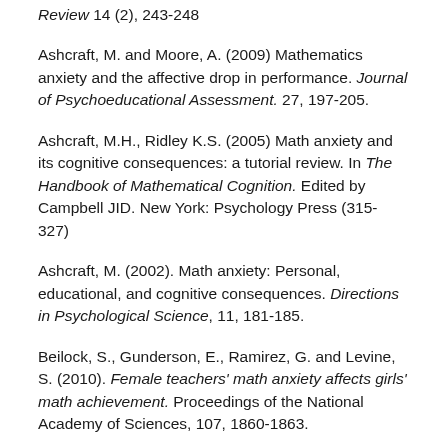Review 14 (2), 243-248
Ashcraft, M. and Moore, A. (2009) Mathematics anxiety and the affective drop in performance. Journal of Psychoeducational Assessment. 27, 197-205.
Ashcraft, M.H., Ridley K.S. (2005) Math anxiety and its cognitive consequences: a tutorial review. In The Handbook of Mathematical Cognition. Edited by Campbell JID. New York: Psychology Press (315- 327)
Ashcraft, M. (2002). Math anxiety: Personal, educational, and cognitive consequences. Directions in Psychological Science, 11, 181-185.
Beilock, S., Gunderson, E., Ramirez, G. and Levine, S. (2010). Female teachers' math anxiety affects girls' math achievement. Proceedings of the National Academy of Sciences, 107, 1860-1863.